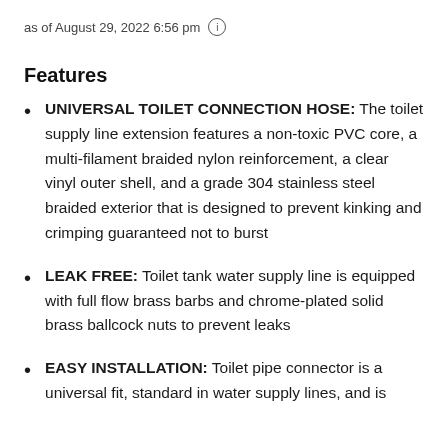as of August 29, 2022 6:56 pm (i)
Features
UNIVERSAL TOILET CONNECTION HOSE: The toilet supply line extension features a non-toxic PVC core, a multi-filament braided nylon reinforcement, a clear vinyl outer shell, and a grade 304 stainless steel braided exterior that is designed to prevent kinking and crimping guaranteed not to burst
LEAK FREE: Toilet tank water supply line is equipped with full flow brass barbs and chrome-plated solid brass ballcock nuts to prevent leaks
EASY INSTALLATION: Toilet pipe connector is a universal fit, standard in water supply lines, and is